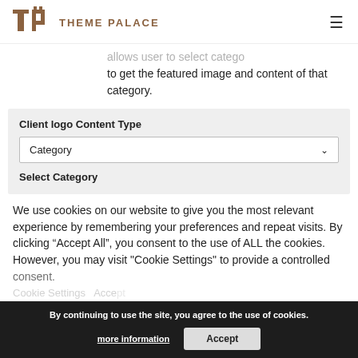THEME PALACE
allows user to select category to get the featured image and content of that category.
Client logo Content Type
Category
Select Category
We use cookies on our website to give you the most relevant experience by remembering your preferences and repeat visits. By clicking “Accept All”, you consent to the use of ALL the cookies. However, you may visit "Cookie Settings" to provide a controlled consent.
By continuing to use the site, you agree to the use of cookies.
more information
Accept